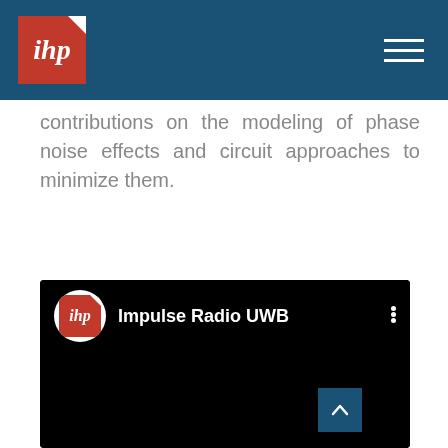IHP logo and navigation bar
contributions on the modeling of phase noise effects and circuit approaches to minimize them.
[Figure (screenshot): Embedded YouTube-style video player with IHP logo and title 'Impulse Radio UWB' on a black background, with a back-to-top button in the lower right corner.]